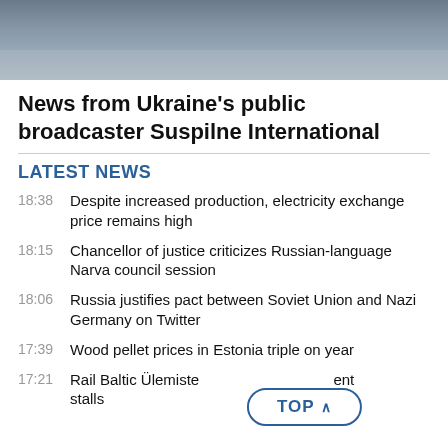[Figure (photo): Aerial or cityscape photograph used as a hero banner, gray-toned urban scene.]
News from Ukraine's public broadcaster Suspilne International
LATEST NEWS
18:38  Despite increased production, electricity exchange price remains high
18:15  Chancellor of justice criticizes Russian-language Narva council session
18:06  Russia justifies pact between Soviet Union and Nazi Germany on Twitter
17:39  Wood pellet prices in Estonia triple on year
17:21  Rail Baltic Ülemiste [TOP] ent stalls